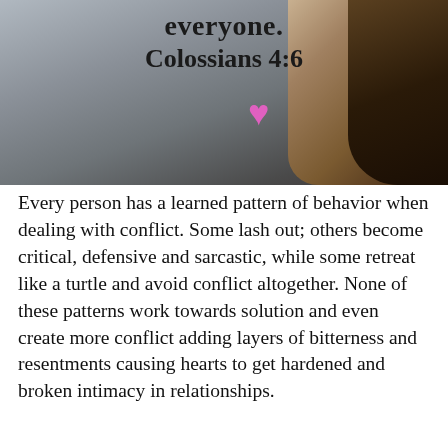[Figure (photo): Black and white photo of a person seen from behind with long hair, against a blurred outdoor background. Overlaid text reads 'everyone. Colossians 4:6' with a pink heart emoji.]
Every person has a learned pattern of behavior when dealing with conflict. Some lash out; others become critical, defensive and sarcastic, while some retreat like a turtle and avoid conflict altogether. None of these patterns work towards solution and even create more conflict adding layers of bitterness and resentments causing hearts to get hardened and broken intimacy in relationships.